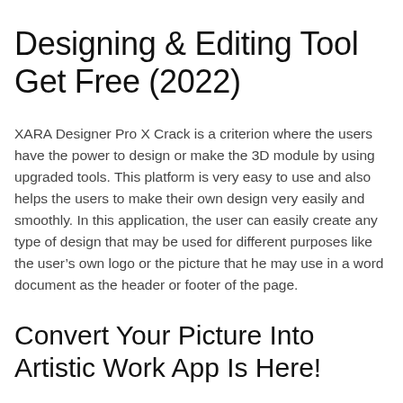Designing & Editing Tool Get Free (2022)
XARA Designer Pro X Crack is a criterion where the users have the power to design or make the 3D module by using upgraded tools. This platform is very easy to use and also helps the users to make their own design very easily and smoothly. In this application, the user can easily create any type of design that may be used for different purposes like the user's own logo or the picture that he may use in a word document as the header or footer of the page.
Convert Your Picture Into Artistic Work App Is Here!
The full version with a complete Keygen of XARA